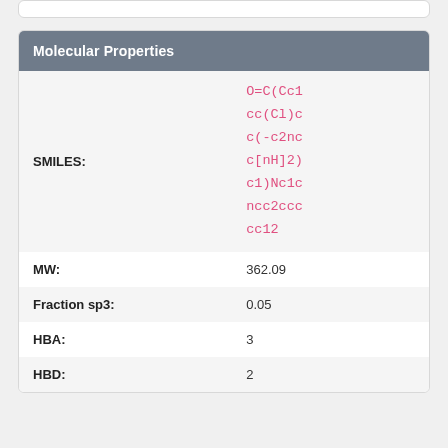| Molecular Properties |  |
| --- | --- |
| SMILES: | O=C(Cc1cc(Cl)cc(-c2ncc[nH]2)c1)Nc1cncc2ccccc12 |
| MW: | 362.09 |
| Fraction sp3: | 0.05 |
| HBA: | 3 |
| HBD: | 2 |